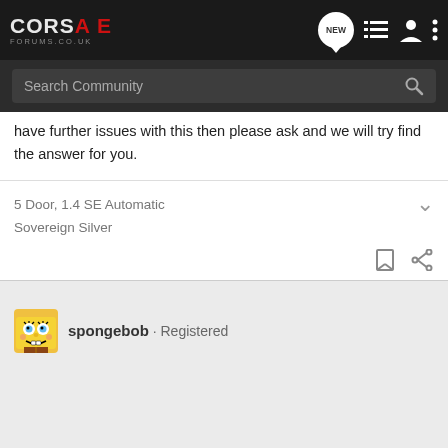CORSAE FORUMS.CO.UK — Navigation bar with NEW, list, user, and more icons; Search Community
have further issues with this then please ask and we will try find the answer for you.
5 Door, 1.4 SE Automatic
Sovereign Silver
spongebob · Registered